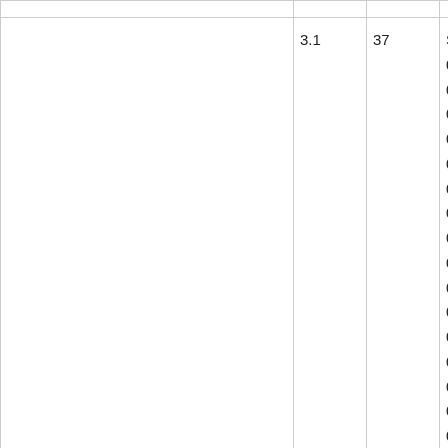|  |  |  |  |
| --- | --- | --- | --- |
|  |  |  |  |
|  | 3.1 | 37 | ST.002
001 00
005.M
005.M
007.M
007.M
009 01
012 01
014.M
014.M
016.M
016.M
016.M
017 01
018 01
020.M
020.M
020.M |